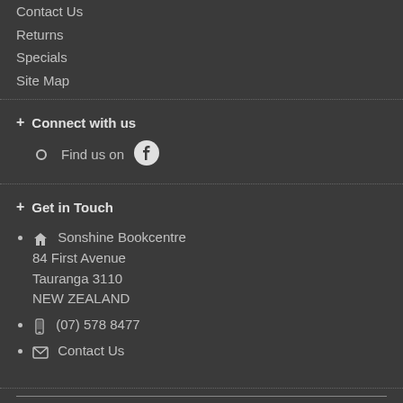Contact Us
Returns
Specials
Site Map
+ Connect with us
Find us on [Facebook]
+ Get in Touch
[home icon] Sonshine Bookcentre 84 First Avenue Tauranga 3110 NEW ZEALAND
[phone icon] (07) 578 8477
[mail icon] Contact Us
Developed By Chreos